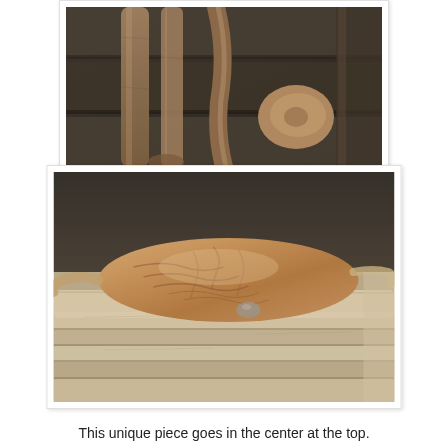[Figure (photo): Close-up photo of driftwood pieces arranged vertically against a dark wooden background, showing natural weathered textures and knots.]
[Figure (photo): Close-up photo of a unique driftwood piece with organic wrinkled/bulging form lying horizontally across stacked weathered wooden planks against a dark background.]
This unique piece goes in the center at the top.